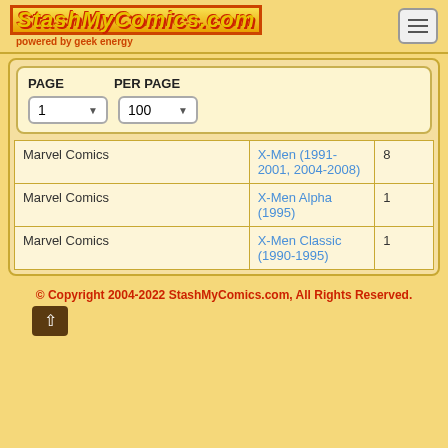StashMyComics.com powered by geek energy
| PAGE | PER PAGE |
| --- | --- |
| 1 | 100 |
| Publisher | Series | Count |
| --- | --- | --- |
| Marvel Comics | X-Men (1991-2001, 2004-2008) | 8 |
| Marvel Comics | X-Men Alpha (1995) | 1 |
| Marvel Comics | X-Men Classic (1990-1995) | 1 |
© Copyright 2004-2022 StashMyComics.com, All Rights Reserved.